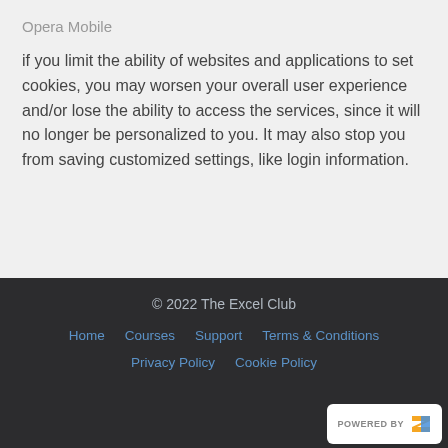Opera Mobile
if you limit the ability of websites and applications to set cookies, you may worsen your overall user experience and/or lose the ability to access the services, since it will no longer be personalized to you. It may also stop you from saving customized settings, like login information.
© 2022 The Excel Club
Home   Courses   Support   Terms & Conditions
Privacy Policy   Cookie Policy